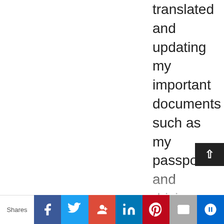translated and updating my important documents such as my passport and driving licence and notifying everyone who had my name to update it. I'm not a resident in Japan yet, but should be soon 🙂 When I arrive in Japan, will my residence card be issued in the same name as my passport? Do I need to notify the city hall in Japan where me and my husband got married, to update his koseki? We are questioning them but they are not so helpful. They won't accept my passport as proof i have updated my name under my home country's law – is this just them being awkward? As this is pretty much all we get in the UK. They are asking for things that don't exist in...
Shares | Facebook | Twitter | Google+ | LinkedIn | Pinterest | Email | Crown